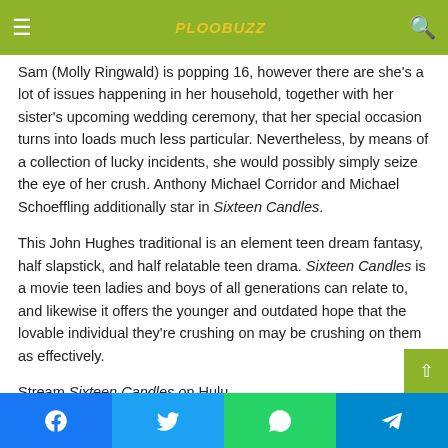≡  PLOOBUZZ  🔍
Sam (Molly Ringwald) is popping 16, however there are she's a lot of issues happening in her household, together with her sister's upcoming wedding ceremony, that her special occasion turns into loads much less particular. Nevertheless, by means of a collection of lucky incidents, she would possibly simply seize the eye of her crush. Anthony Michael Corridor and Michael Schoeffling additionally star in Sixteen Candles.
This John Hughes traditional is an element teen dream fantasy, half slapstick, and half relatable teen drama. Sixteen Candles is a movie teen ladies and boys of all generations can relate to, and likewise it offers the younger and outdated hope that the lovable individual they're crushing on may be crushing on them as effectively.
Stream Sixteen Candles on Hulu.